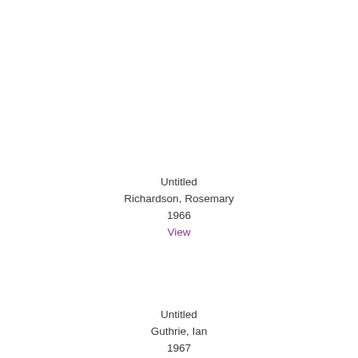Untitled
Richardson, Rosemary
1966
View
Untitled
Guthrie, Ian
1967